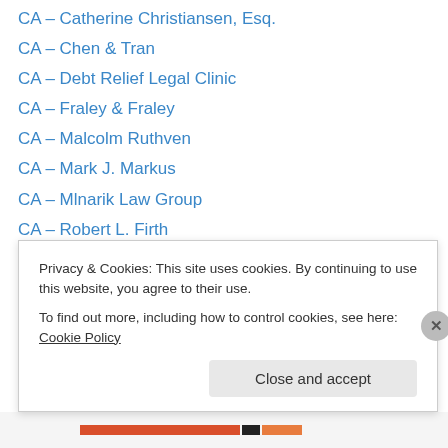CA – Catherine Christiansen, Esq.
CA – Chen & Tran
CA – Debt Relief Legal Clinic
CA – Fraley & Fraley
CA – Malcolm Ruthven
CA – Mark J. Markus
CA – Mlnarik Law Group
CA – Robert L. Firth
CA – San Jose Bankruptcy
Debt Men Tell No Tales
FL – Bowen Bankruptcy
FL – Ft. Lauderdale Bankruptcy
FL – Jon L. Martin
Privacy & Cookies: This site uses cookies. By continuing to use this website, you agree to their use. To find out more, including how to control cookies, see here: Cookie Policy
Close and accept